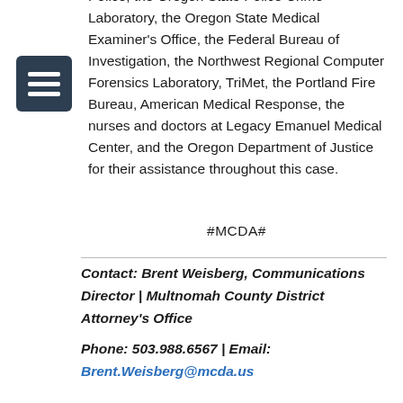Police, the Oregon State Police Crime Laboratory, the Oregon State Medical Examiner's Office, the Federal Bureau of Investigation, the Northwest Regional Computer Forensics Laboratory, TriMet, the Portland Fire Bureau, American Medical Response, the nurses and doctors at Legacy Emanuel Medical Center, and the Oregon Department of Justice for their assistance throughout this case.
#MCDA#
Contact: Brent Weisberg, Communications Director | Multnomah County District Attorney's Office
Phone: 503.988.6567 | Email: Brent.Weisberg@mcda.us